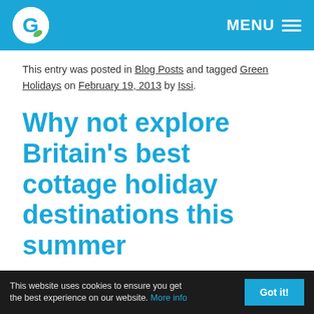G [logo] MENU
This entry was posted in Blog Posts and tagged Green Holidays on February 19, 2013 by Issi.
Why not explore Britain’s best cottage holiday destinations this summer
On a dull January day, nothing beats the blues like booking a cottage for a short break or summer holiday. The UK has some great holiday
This website uses cookies to ensure you get the best experience on our website. More info  Got it!